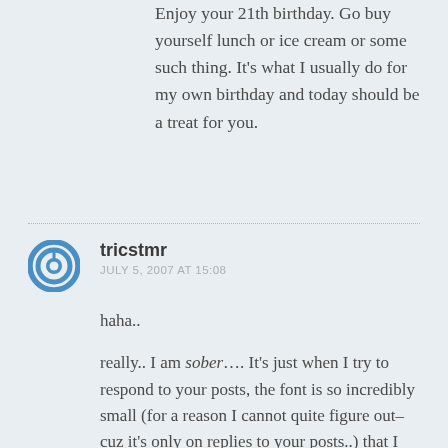Enjoy your 21th birthday. Go buy yourself lunch or ice cream or some such thing. It's what I usually do for my own birthday and today should be a treat for you.
tricstmr
JULY 5, 2007 AT 15:08

haha..

really.. I am sober…. It's just when I try to respond to your posts, the font is so incredibly small (for a reason I cannot quite figure out–cuz it's only on replies to your posts..) that I am generally just guessing what I'm typing..

again.. Happy trip around the sun!